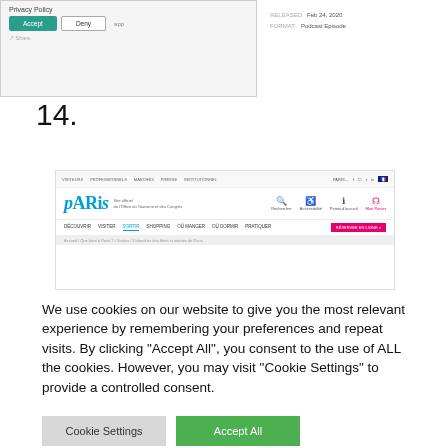[Figure (screenshot): Screenshot of a Privacy Policy dialog with Accept and Deny buttons, with metadata showing RELEASED: Feb 24, 2020 and FORMAT: Podcast Episode]
14.
[Figure (screenshot): Screenshot of the Paris Official Tourism and Conventions website with navigation menu including DÉCOUVRIR, VISITER, SORTIR, SHOPPING, OÙ MANGER, OÙ DORMIR, PRATIQUER and RÉSERVER EN LIGNE button]
We use cookies on our website to give you the most relevant experience by remembering your preferences and repeat visits. By clicking "Accept All", you consent to the use of ALL the cookies. However, you may visit "Cookie Settings" to provide a controlled consent.
Cookie Settings
Accept All